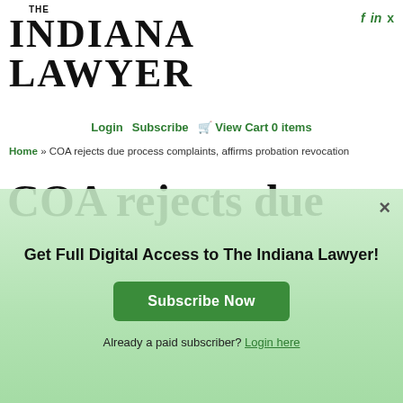[Figure (logo): The Indiana Lawyer publication logo with large bold serif text]
Login  Subscribe  View Cart 0 items
Home » COA rejects due process complaints, affirms probation revocation
COA rejects due...
Get Full Digital Access to The Indiana Lawyer!
Subscribe Now
Already a paid subscriber? Login here